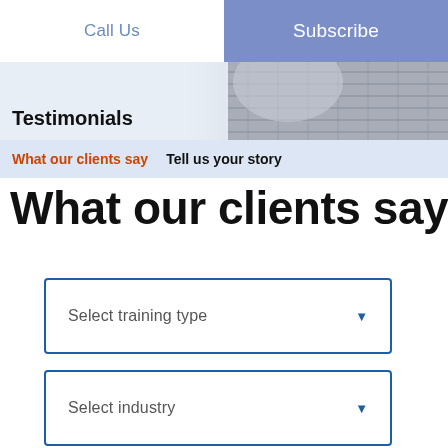Call Us | Subscribe
Testimonials
What our clients say   Tell us your story
What our clients say
Select training type
Select industry